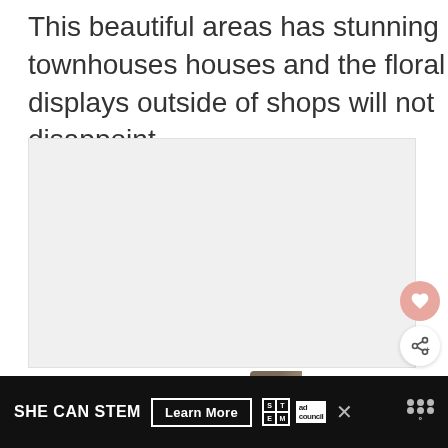This beautiful areas has stunning townhouses houses and the floral displays outside of shops will not disappoint.
[Figure (photo): Placeholder image area, light gray background, with social action buttons (heart and share) and a 'What's Next' card showing a building thumbnail and text 'Getting From The...']
SHE CAN STEM  Learn More  [STEM logo] [ad council logo] × [dots icon]